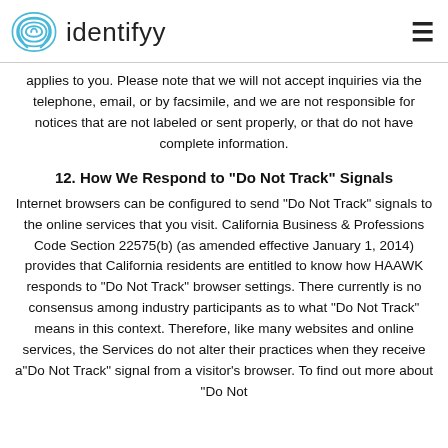identifyy
applies to you. Please note that we will not accept inquiries via the telephone, email, or by facsimile, and we are not responsible for notices that are not labeled or sent properly, or that do not have complete information.
12. How We Respond to "Do Not Track" Signals
Internet browsers can be configured to send "Do Not Track" signals to the online services that you visit. California Business & Professions Code Section 22575(b) (as amended effective January 1, 2014) provides that California residents are entitled to know how HAAWK responds to "Do Not Track" browser settings. There currently is no consensus among industry participants as to what "Do Not Track" means in this context. Therefore, like many websites and online services, the Services do not alter their practices when they receive a"Do Not Track" signal from a visitor's browser. To find out more about "Do Not